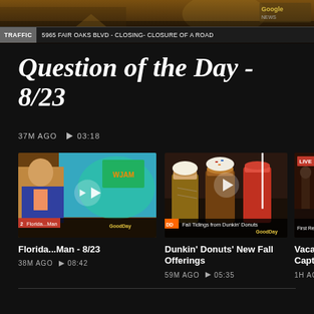[Figure (screenshot): TV news broadcast screenshot at top of page with amber/brown background showing news broadcast scene]
TRAFFIC  5965 FAIR OAKS BLVD - CLOSING- CLOSURE OF A ROAD
Question of the Day - 8/23
37M AGO  ▶ 03:18
[Figure (screenshot): Video thumbnail: Florida Man news segment showing male anchor in suit against colorful TV studio background with lower-third chyron 'Florida...Man']
Florida...Man - 8/23
38M AGO  ▶ 08:42
[Figure (screenshot): Video thumbnail: Dunkin' Donuts fall drinks - three tall iced drinks on counter with lower-third 'Fall Tidings from Dunkin Donuts']
Dunkin' Donuts' New Fall Offerings
59M AGO  ▶ 05:35
[Figure (screenshot): Video thumbnail: Partially visible, appears to show fire/emergency scene with LIVE badge]
Vacaville ... Captain!
1H AGO